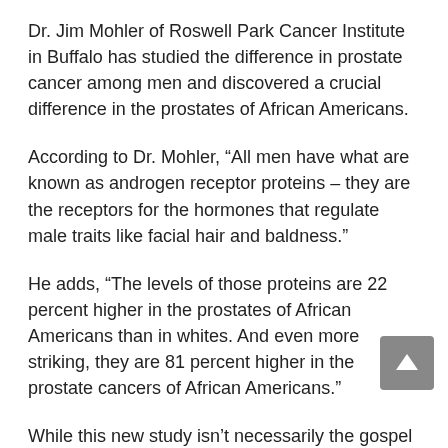Dr. Jim Mohler of Roswell Park Cancer Institute in Buffalo has studied the difference in prostate cancer among men and discovered a crucial difference in the prostates of African Americans.
According to Dr. Mohler, “All men have what are known as androgen receptor proteins – they are the receptors for the hormones that regulate male traits like facial hair and baldness.”
He adds, “The levels of those proteins are 22 percent higher in the prostates of African Americans than in whites. And even more striking, they are 81 percent higher in the prostate cancers of African Americans.”
While this new study isn’t necessarily the gospel yet, it does provide some interesting input into the difference between races.
And both studies also reinforce that fact that black men typically do not help the situation at all because of our attitudes towards seeking medical care.